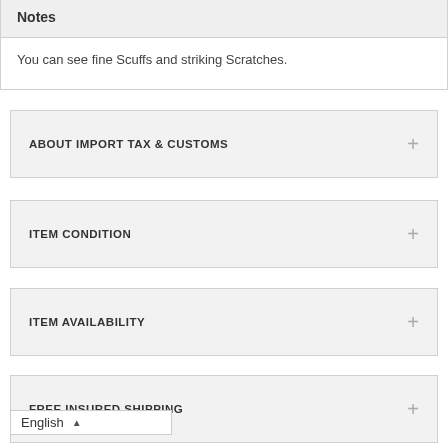Notes
You can see fine Scuffs and striking Scratches.
ABOUT IMPORT TAX & CUSTOMS
ITEM CONDITION
ITEM AVAILABILITY
FREE INSURED SHIPPING
REFUND & RETURN